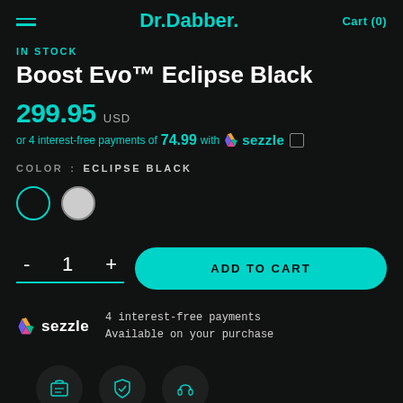Dr.Dabber. Cart (0)
IN STOCK
Boost Evo™ Eclipse Black
299.95 USD
or 4 interest-free payments of 74.99 with sezzle
COLOR : ECLIPSE BLACK
[Figure (other): Color swatches: teal outline circle (selected) and gray/white filled circle]
- 1 + ADD TO CART
[Figure (logo): Sezzle logo with lightning bolt icon and text: 4 interest-free payments Available on your purchase]
[Figure (other): Three dark circular icons at bottom: shipping box, shield/checkmark, headphones]